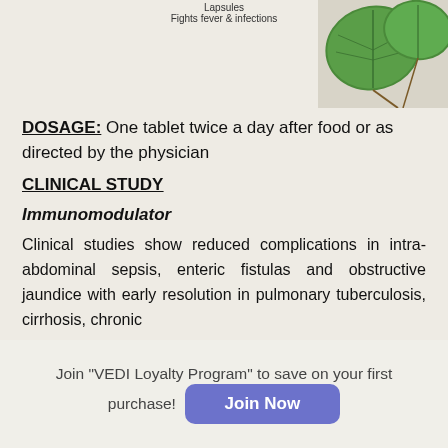[Figure (photo): Green plant leaves in upper right corner with product text labels 'Lapsules' and 'Fights fever & infections' centered at top]
DOSAGE: One tablet twice a day after food or as directed by the physician
CLINICAL STUDY
Immunomodulator
Clinical studies show reduced complications in intra-abdominal sepsis, enteric fistulas and obstructive jaundice with early resolution in pulmonary tuberculosis, cirrhosis, chronic
Join "VEDI Loyalty Program" to save on your first purchase! Join Now